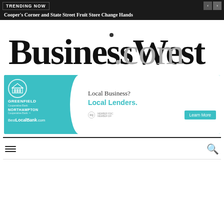TRENDING NOW
Cooper's Corner and State Street Fruit Store Change Hands
[Figure (logo): BusinessWest.com logo in serif font with black 'BusinessWest' and gray '.com']
[Figure (infographic): Greenfield Cooperative Bank / Northampton Cooperative Bank advertisement. Text: Local Business? Local Lenders. BestLocalBank.com. Member FDIC Member DIF. Learn More button.]